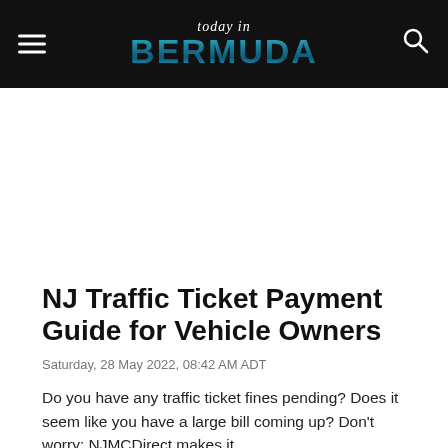today in BERMUDA
NJ Traffic Ticket Payment Guide for Vehicle Owners
Saturday, 28 May 2022, 08:42 AM ADT
Do you have any traffic ticket fines pending? Does it seem like you have a large bill coming up? Don't worry; NJMCDirect makes it...